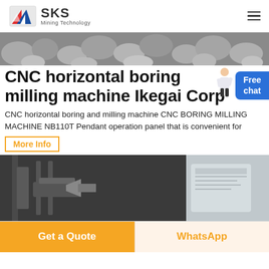SKS Mining Technology
[Figure (photo): Hero image of gray rocks/stones aggregate material]
CNC horizontal boring milling machine Ikegai Corp
CNC horizontal boring and milling machine CNC BORING MILLING MACHINE NB110T Pendant operation panel that is convenient for
More Info
[Figure (photo): Close-up photo of a CNC horizontal boring milling machine component, showing dark metallic parts]
Get a Quote
WhatsApp